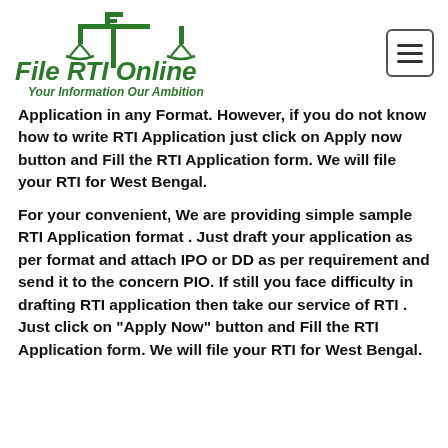File RTI Online — Your Information Our Ambition
Application in any Format. However, if you do not know how to write RTI Application just click on Apply now button and Fill the RTI Application form. We will file your RTI for West Bengal.
For your convenient, We are providing simple sample RTI Application format . Just draft your application as per format and attach IPO or DD as per requirement and send it to the concern PIO. If still you face difficulty in drafting RTI application then take our service of RTI . Just click on "Apply Now" button and Fill the RTI Application form. We will file your RTI for West Bengal.